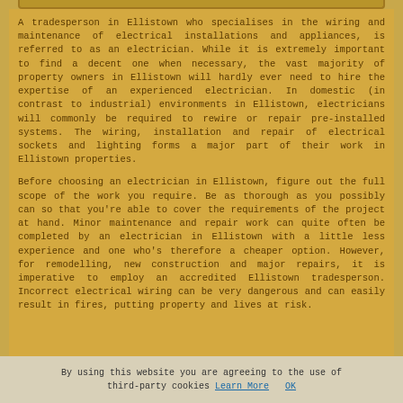A tradesperson in Ellistown who specialises in the wiring and maintenance of electrical installations and appliances, is referred to as an electrician. While it is extremely important to find a decent one when necessary, the vast majority of property owners in Ellistown will hardly ever need to hire the expertise of an experienced electrician. In domestic (in contrast to industrial) environments in Ellistown, electricians will commonly be required to rewire or repair pre-installed systems. The wiring, installation and repair of electrical sockets and lighting forms a major part of their work in Ellistown properties.
Before choosing an electrician in Ellistown, figure out the full scope of the work you require. Be as thorough as you possibly can so that you're able to cover the requirements of the project at hand. Minor maintenance and repair work can quite often be completed by an electrician in Ellistown with a little less experience and one who's therefore a cheaper option. However, for remodelling, new construction and major repairs, it is imperative to employ an accredited Ellistown tradesperson. Incorrect electrical wiring can be very dangerous and can easily result in fires, putting property and lives at risk.
By using this website you are agreeing to the use of third-party cookies Learn More   OK